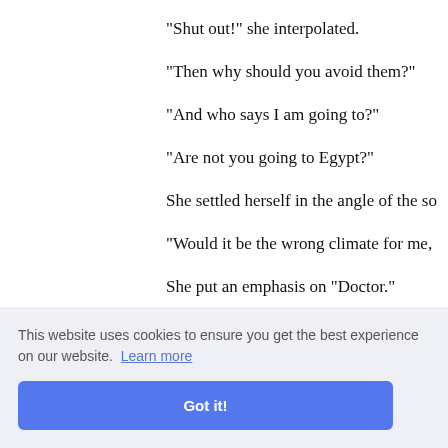"Shut out!" she interpolated.
"Then why should you avoid them?"
"And who says I am going to?"
"Are not you going to Egypt?"
She settled herself in the angle of the so
"Would it be the wrong climate for me,
She put an emphasis on "Doctor."
emy?"
"Of whom?"
This website uses cookies to ensure you get the best experience on our website. Learn more
Got it!